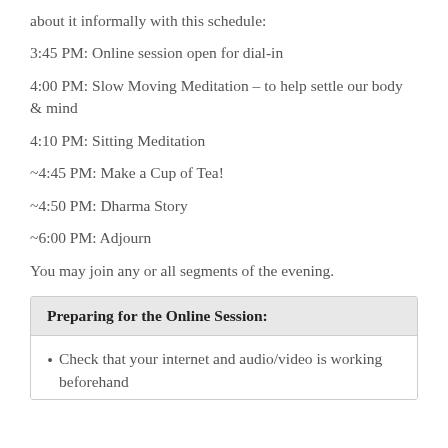about it informally with this schedule:
3:45 PM: Online session open for dial-in
4:00 PM: Slow Moving Meditation – to help settle our body & mind
4:10 PM: Sitting Meditation
~4:45 PM: Make a Cup of Tea!
~4:50 PM: Dharma Story
~6:00 PM: Adjourn
You may join any or all segments of the evening.
Preparing for the Online Session:
Check that your internet and audio/video is working beforehand